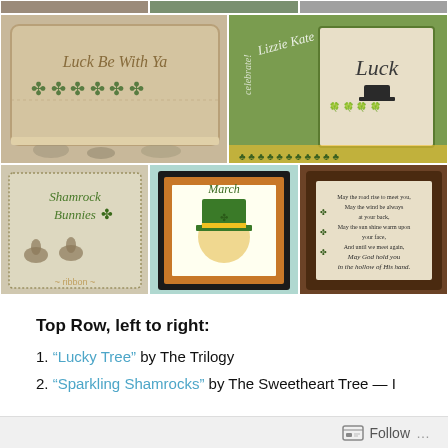[Figure (photo): Grid of cross-stitch and needlework photos with St. Patrick's Day / shamrock themes. Top partial row shows three partially cropped images. Middle row left: a pillow with 'Luck Be With Ya' in cross-stitch with four-leaf clovers. Middle row right: green background with Lizzie Kate branding showing a 'Luck' cross-stitch sampler. Bottom row left: pillow with 'Shamrock Bunnies' cross-stitch and rabbits. Bottom row center: framed cross-stitch of a leprechaun with 'March'. Bottom row right: dark wood-framed Irish blessing cross-stitch.]
Top Row, left to right:
1. “Lucky Tree” by The Trilogy
2. “Sparkling Shamrocks” by The Sweetheart Tree — I
Follow